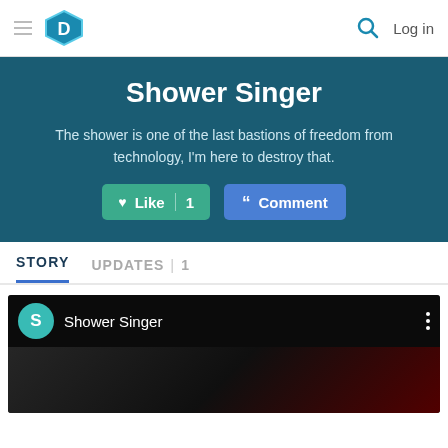D — Log in
Shower Singer
The shower is one of the last bastions of freedom from technology, I'm here to destroy that.
Like 1 | Comment
STORY   UPDATES | 1
[Figure (screenshot): Video player thumbnail showing Shower Singer avatar with teal circle S icon and three-dot menu, dark background video content below]